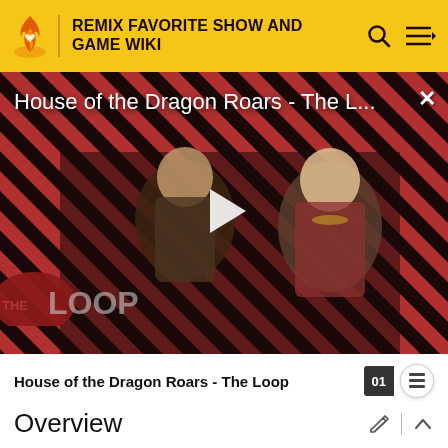REMIX FAVORITE SHOW AND GAME WIKI
[Figure (screenshot): Video thumbnail for 'House of the Dragon Roars - The L...' with play button overlay, red and black diagonal stripe background, two characters visible, and 'THE LOOP' badge in lower left]
House of the Dragon Roars - The Loop
Overview
The Sector β nebula is a large darkish-blue teal colored